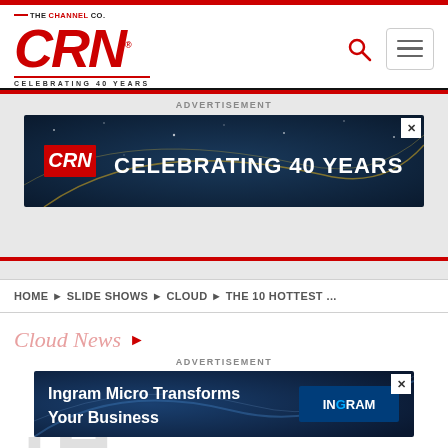[Figure (logo): CRN logo - THE CHANNEL CO. above, large red italic CRN text, CELEBRATING 40 YEARS below]
[Figure (screenshot): CRN Celebrating 40 Years advertisement banner with dark blue starfield background]
HOME ▶ SLIDE SHOWS ▶ CLOUD ▶ THE 10 HOTTEST ...
Cloud News ▶
[Figure (screenshot): Ingram Micro Transforms Your Business advertisement banner with dark blue background and Ingram Micro logo]